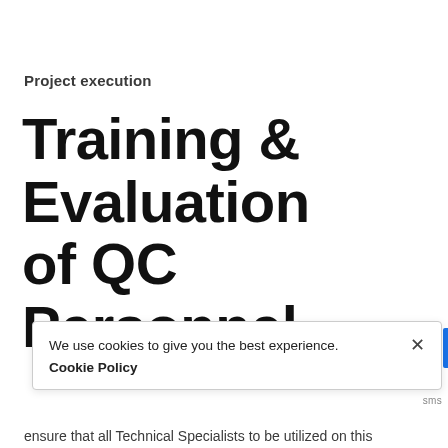Project execution
Training & Evaluation of QC Personnel
We use cookies to give you the best experience. Cookie Policy
ensure that all Technical Specialists to be utilized on this